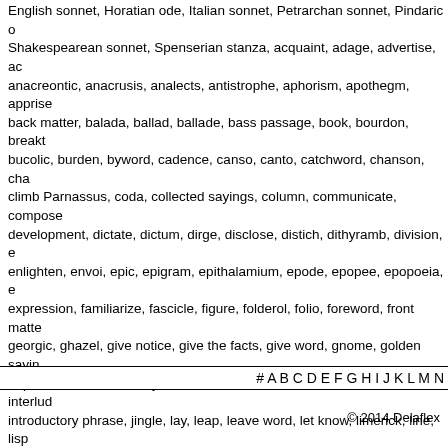English sonnet, Horatian ode, Italian sonnet, Petrarchan sonnet, Pindaric o Shakespearean sonnet, Spenserian stanza, acquaint, adage, advertise, ac anacreontic, anacrusis, analects, antistrophe, aphorism, apothegm, apprise back matter, balada, ballad, ballade, bass passage, book, bourdon, breakt bucolic, burden, byword, cadence, canso, canto, catchword, chanson, cha climb Parnassus, coda, collected sayings, column, communicate, compose development, dictate, dictum, dirge, disclose, distich, dithyramb, division, e enlighten, envoi, epic, epigram, epithalamium, epode, epopee, epopoeia, e expression, familiarize, fascicle, figure, folderol, folio, foreword, front matte georgic, ghazel, give notice, give the facts, give word, gnome, golden sayin heptastich, hexastich, idyll, inform, innovation, installment, instruct, interlud introductory phrase, jingle, lay, leap, leave word, let know, limerick, line, lis madrigal, make immortal verse, maxim, measure, mention to, monody, mo mount Pegasus, movement, musical phrase, musical sentence, musical th number, nursery rhyme, octastich, octave, octet, ode, oracle, ornament, ott palinode, paragraph, part, passage, pastoral, pastoral elegy, pastorela, pas phrase, pithy saying, poem, poesy, poetize, poetry, postulate, preamble, pr prefixture, preliminary, prelude, premise, prescript, presupposition, proem, prolepsis, prologue, protasis, prothalamium, proverb, proverbial saying, pro resolution, response, rhyme, rhyme royal, ritornello, rondeau, rondel, roun saying, section, send word, sentence, sententious expression, septet, seria sextet, sheet, signature, sing, sing deathless songs, sloka, song, sonnet, s statement, stave, stock saying, strain, strophe, sutra, syllable, tailpiece, tar tenzone, tercet, terza rima, tetrastich, text, the supreme fiction, threnody, tr poem, tutti, tutti passage, variation, verselet, versicle, versify, villanelle, vire wisdom literature, wise saying, witticism, word, words of wisdom, write poe
# A B C D E F G H I J K L M N
© 2014 Delaflex